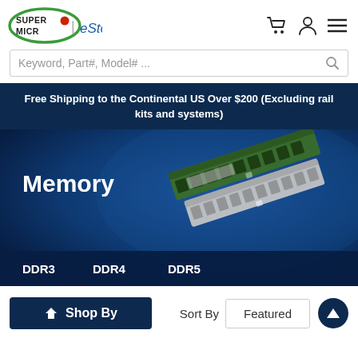[Figure (logo): Supermicro eStore logo with green oval, red dot, and italic eStore text]
Keyword, Part#, Model# ...
Free Shipping to the Continental US Over $200 (Excluding rail kits and systems)
[Figure (illustration): Memory category hero banner with dark blue background showing two RAM sticks and bold white 'Memory' heading, with DDR3, DDR4, DDR5 links at bottom]
Shop By
Sort By   Featured